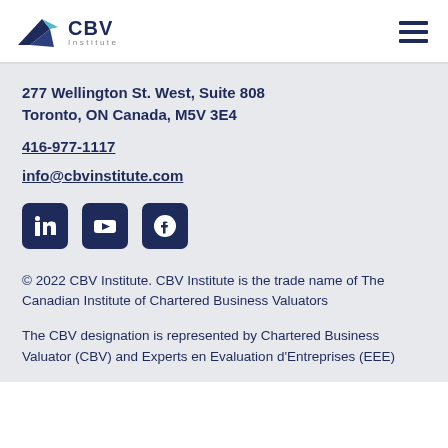[Figure (logo): CBV Institute logo with stylized wing/arrow mark in navy and teal, bold CBV text, and 'Institute' subtitle]
277 Wellington St. West, Suite 808
Toronto, ON Canada, M5V 3E4
416-977-1117
info@cbvinstitute.com
[Figure (other): Social media icons: LinkedIn, YouTube, Facebook — all in navy rounded squares]
© 2022 CBV Institute. CBV Institute is the trade name of The Canadian Institute of Chartered Business Valuators
The CBV designation is represented by Chartered Business Valuator (CBV) and Experts en Evaluation d'Entreprises (EEE)